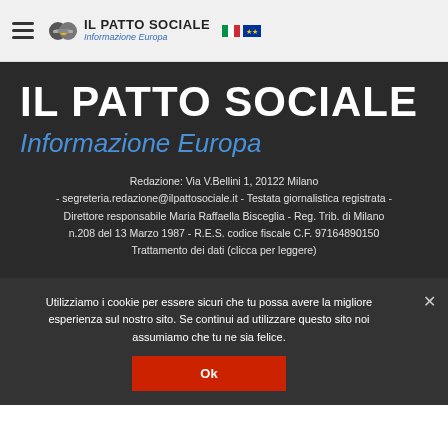IL PATTO SOCIALE Informazione Europa
IL PATTO SOCIALE
Informazione Europa
Redazione: Via V.Bellini 1, 20122 Milano - segreteria.redazione@ilpattosociale.it - Testata giornalistica registrata - Direttore responsabile Maria Raffaella Bisceglia - Reg. Trib. di Milano n.208 del 13 Marzo 1987 - R.E.S. codice fiscale C.F. 97164890150 Trattamento dei dati (clicca per leggere)
Utilizziamo i cookie per essere sicuri che tu possa avere la migliore esperienza sul nostro sito. Se continui ad utilizzare questo sito noi assumiamo che tu ne sia felice.
Ok